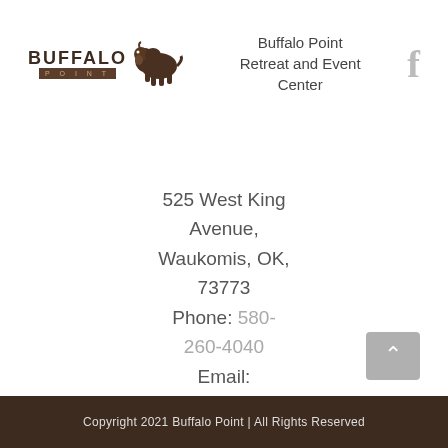[Figure (logo): Buffalo Point Retreat and Event Center logo with bison silhouette and text]
Buffalo Point Retreat and Event Center
[Figure (logo): Facebook 'f' icon in light gray]
525 West King Avenue, Waukomis, OK, 73773
Phone: 580-260-4040
Email:
hosts@buffalopointretreat.com
Copyright 2021 Buffalo Point | All Rights Reserved